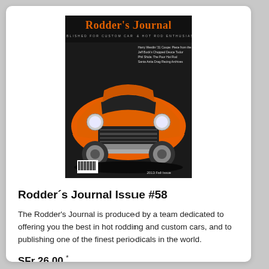[Figure (photo): Magazine cover of Rodder's Journal issue #58 showing an orange hot rod car with the Rodder's Journal masthead in orange text on a dark background.]
Rodder´s Journal Issue #58
The Rodder's Journal is produced by a team dedicated to offering you the best in hot rodding and custom cars, and to publishing one of the finest periodicals in the world.
SFr 26.00 *
Merken